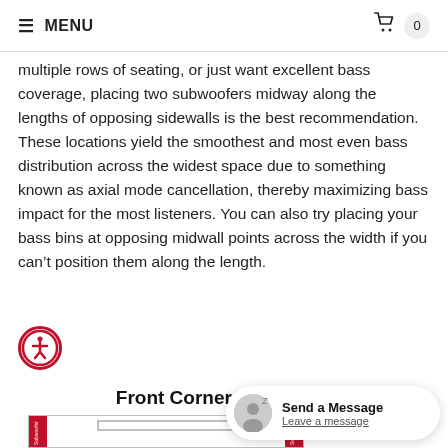≡ MENU  🛒 0
multiple rows of seating, or just want excellent bass coverage, placing two subwoofers midway along the lengths of opposing sidewalls is the best recommendation. These locations yield the smoothest and most even bass distribution across the widest space due to something known as axial mode cancellation, thereby maximizing bass impact for the most listeners. You can also try placing your bass bins at opposing midwall points across the width if you can't position them along the length.
Front Corner Placement
[Figure (engineering-diagram): Floor plan diagram showing front corner placement of two subwoofers at the front corners of a room, with a TV/screen at the front wall and seating in the room.]